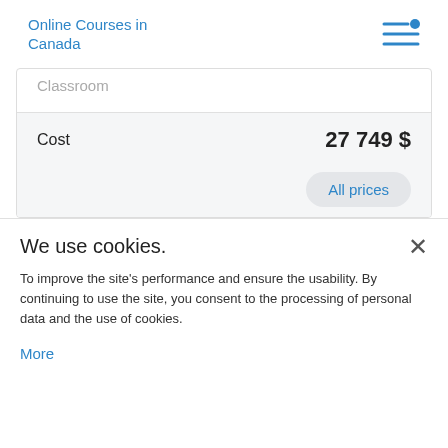Online Courses in Canada
Classroom
Degree
1992
Yes
Cost  27 749 $
All prices
We use cookies.
To improve the site's performance and ensure the usability. By continuing to use the site, you consent to the processing of personal data and the use of cookies.
More